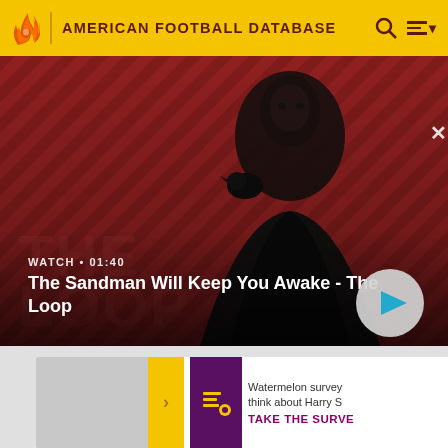AMERICAN FOOTBALL DATABASE
[Figure (screenshot): Video banner showing a dark-cloaked figure with a raven on their shoulder against a red and dark diagonal striped background. Text overlay reads WATCH • 01:40 and title The Sandman Will Keep You Awake - The Loop with a play button.]
WATCH • 01:40
The Sandman Will Keep You Awake - The Loop
Watermelon survey think about Harry S TAKE THE SURVE